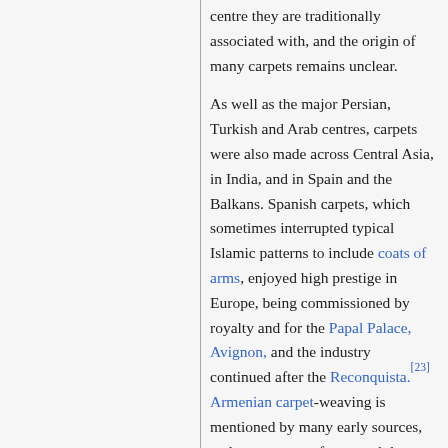centre they are traditionally associated with, and the origin of many carpets remains unclear.
As well as the major Persian, Turkish and Arab centres, carpets were also made across Central Asia, in India, and in Spain and the Balkans. Spanish carpets, which sometimes interrupted typical Islamic patterns to include coats of arms, enjoyed high prestige in Europe, being commissioned by royalty and for the Papal Palace, Avignon, and the industry continued after the Reconquista.[23] Armenian carpet-weaving is mentioned by many early sources, and may account for a much larger proportion of East Turkish and Caucasian production than